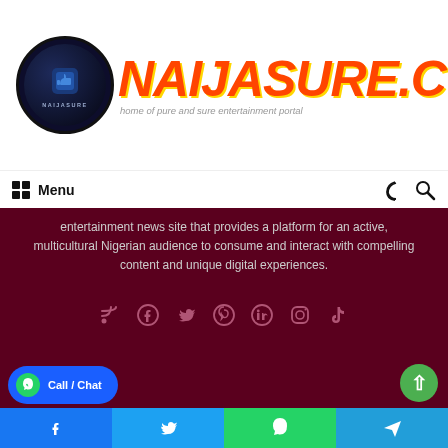[Figure (logo): Naijasure.com logo with circular icon on left and large orange/red italic site name on right, with tagline 'home of pure and sure entertainment portal']
Menu | (moon icon) (search icon)
entertainment news site that provides a platform for an active, multicultural Nigerian audience to consume and interact with compelling content and unique digital experiences.
[Figure (infographic): Social media icons row: RSS, Facebook, Twitter, Pinterest, LinkedIn, Instagram, TikTok]
© Copyright 2014 | 2022, All Rights Reserved | ❤ NAIJASURE Theme by Naijasure Group
WELCOME TO NAIJASURE.COM
ABOUT US   CONTACT US   MUSIC   NEWS   SPORTS
[Figure (infographic): Bottom share bar with Facebook, Twitter, WhatsApp, Telegram buttons. WhatsApp Call/Chat button and scroll-to-top button.]